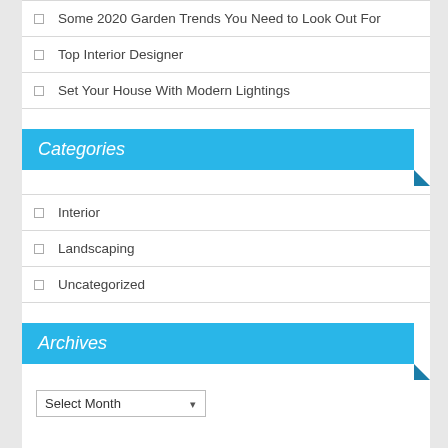Some 2020 Garden Trends You Need to Look Out For
Top Interior Designer
Set Your House With Modern Lightings
Categories
Interior
Landscaping
Uncategorized
Archives
Select Month
Recent Comments